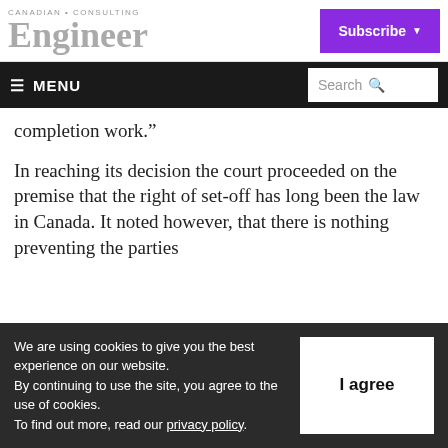Canadian Consulting Engineer
completion work.”
In reaching its decision the court proceeded on the premise that the right of set-off has long been the law in Canada. It noted however, that there is nothing preventing the parties
We are using cookies to give you the best experience on our website.
By continuing to use the site, you agree to the use of cookies.
To find out more, read our privacy policy.